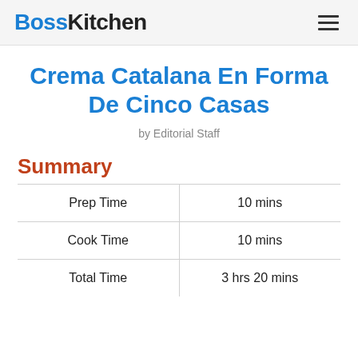BossKitchen
Crema Catalana En Forma De Cinco Casas
by Editorial Staff
Summary
|  |  |
| --- | --- |
| Prep Time | 10 mins |
| Cook Time | 10 mins |
| Total Time | 3 hrs 20 mins |